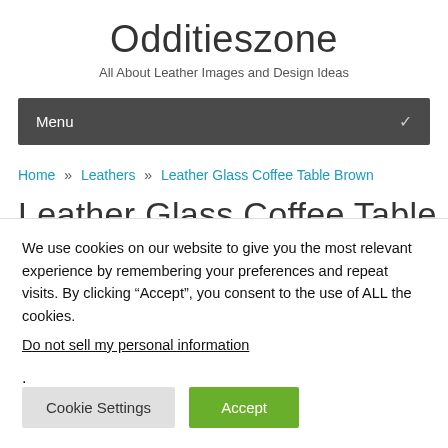Odditieszone
All About Leather Images and Design Ideas
Menu
Home » Leathers » Leather Glass Coffee Table Brown
Leather Glass Coffee Table Brown
We use cookies on our website to give you the most relevant experience by remembering your preferences and repeat visits. By clicking “Accept”, you consent to the use of ALL the cookies.
Do not sell my personal information.
Cookie Settings  Accept